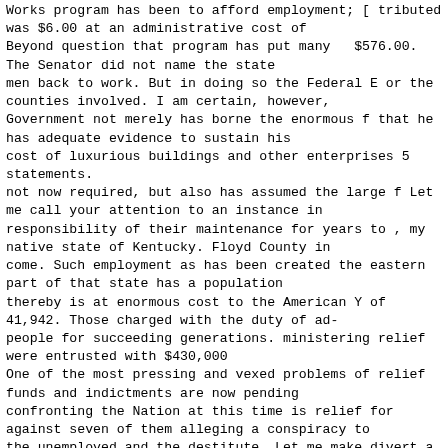Works program has been to afford employment; [ tributed was $6.00 at an administrative cost of Beyond question that program has put many   $576.00. The Senator did not name the state men back to work. But in doing so the Federal E or the counties involved. I am certain, however, Government not merely has borne the enormous f that he has adequate evidence to sustain his cost of luxurious buildings and other enterprises 5 statements. not now required, but also has assumed the large f Let me call your attention to an instance in responsibility of their maintenance for years to , my native state of Kentucky. Floyd County in come. Such employment as has been created the eastern part of that state has a population thereby is at enormous cost to the American Y of 41,942. Those charged with the duty of ad- people for succeeding generations. ministering relief were entrusted with $430,000 One of the most pressing and vexed problems of relief funds and indictments are now pending confronting the Nation at this time is relief for against seven of them alleging a conspiracy to the unemployed and the destitute. Let me make divert a total of $122,500. Five of the seven are it very clear that the American Liberty League accused of actually using the funds for their own does not challenge the theory that the Govern- private interests. A very important point of the ment has an obligation to care for a citizen who whole